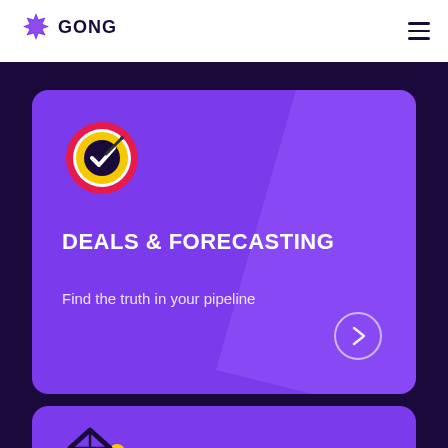GONG
[Figure (logo): Gong logo with purple starburst icon and GONG text in dark purple]
[Figure (illustration): Target/gauge icon with red outer ring, yellow inner ring, dark center with checkmark and needle, on purple card background]
DEALS & FORECASTING
Find the truth in your pipeline
[Figure (illustration): Partial second card showing a diamond/routing icon with cyan and yellow dots on purple background]